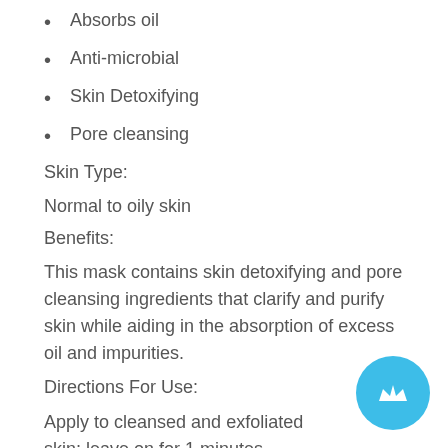Absorbs oil
Anti-microbial
Skin Detoxifying
Pore cleansing
Skin Type:
Normal to oily skin
Benefits:
This mask contains skin detoxifying and pore cleansing ingredients that clarify and purify skin while aiding in the absorption of excess oil and impurities.
Directions For Use:
Apply to cleansed and exfoliated skin; leave on for 1 minutes. Rinse well. Follow with moisturizer and su
Apply a thin layer to the face after cleansing and